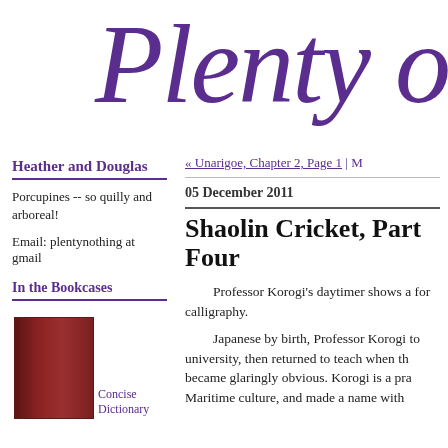Plenty of
« Unarigoe, Chapter 2, Page 1 | M
05 December 2011
Shaolin Cricket, Part Four
Heather and Douglas
Porcupines -- so quilly and arboreal!
Email: plentynothing at gmail
In the Bookcases
[Figure (illustration): Dark red/maroon book cover image]
Concise Dictionary
Professor Korogi's daytimer shows a for calligraphy.
Japanese by birth, Professor Korogi to university, then returned to teach when th became glaringly obvious. Korogi is a pra Maritime culture, and made a name with